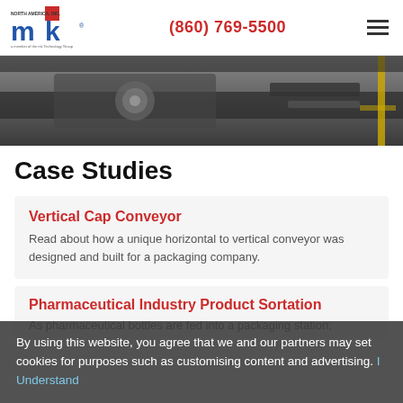mk NORTH AMERICA, INC. | (860) 769-5500
[Figure (photo): Close-up industrial conveyor machinery, dark metallic tones]
Case Studies
Vertical Cap Conveyor
Read about how a unique horizontal to vertical conveyor was designed and built for a packaging company.
Pharmaceutical Industry Product Sortation
As pharmaceutical bottles are fed into a packaging station, random sampling of the product is necessary in order to ensure safety and quality standards are
By using this website, you agree that we and our partners may set cookies for purposes such as customising content and advertising. I Understand